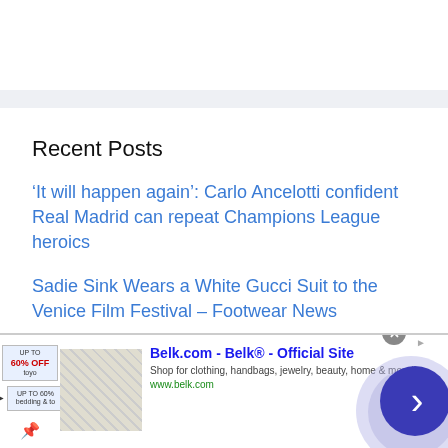Recent Posts
‘It will happen again’: Carlo Ancelotti confident Real Madrid can repeat Champions League heroics
Sadie Sink Wears a White Gucci Suit to the Venice Film Festival – Footwear News
[Figure (screenshot): Advertisement banner for Belk.com showing Belk® Official Site with product thumbnail, text 'Shop for clothing, handbags, jewelry, beauty, home & more!' and www.belk.com URL, with a close button and a blue arrow navigation button on the right side.]